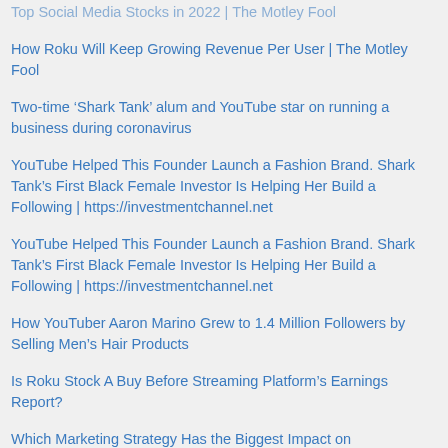Top Social Media Stocks in 2022 | The Motley Fool
How Roku Will Keep Growing Revenue Per User | The Motley Fool
Two-time ‘Shark Tank’ alum and YouTube star on running a business during coronavirus
YouTube Helped This Founder Launch a Fashion Brand. Shark Tank’s First Black Female Investor Is Helping Her Build a Following | https://investmentchannel.net
YouTube Helped This Founder Launch a Fashion Brand. Shark Tank’s First Black Female Investor Is Helping Her Build a Following | https://investmentchannel.net
How YouTuber Aaron Marino Grew to 1.4 Million Followers by Selling Men’s Hair Products
Is Roku Stock A Buy Before Streaming Platform’s Earnings Report?
Which Marketing Strategy Has the Biggest Impact on